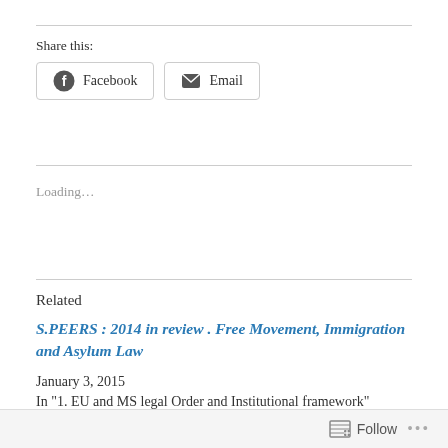Share this:
[Figure (other): Social share buttons: Facebook and Email]
Loading...
Related
S.PEERS : 2014 in review . Free Movement, Immigration and Asylum Law
January 3, 2015
In "1. EU and MS legal Order and Institutional framework"
Follow ...